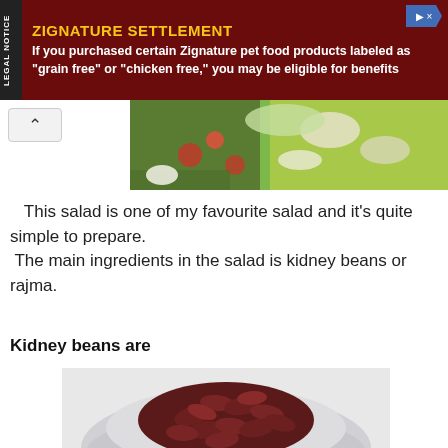[Figure (other): Advertisement banner: Zignature Settlement legal notice with yellow title text on dark red background]
[Figure (photo): Partial view of a salad with vegetables including tomatoes, onions, and green leafy vegetables]
This salad is one of my favourite salad and it's quite simple to prepare.
 The main ingredients in the salad is kidney beans or rajma.
Kidney beans are
[Figure (photo): A white bowl filled with dark red kidney beans (rajma) on a light background]